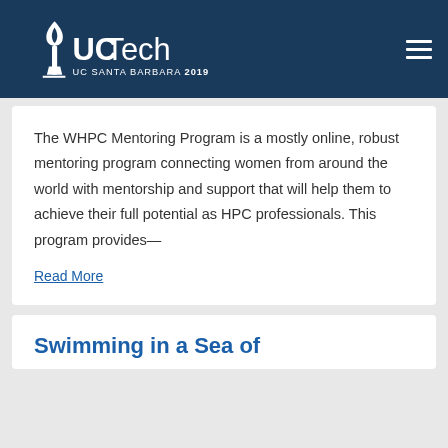[Figure (logo): UC Tech UC Santa Barbara 2019 logo on dark navy blue header bar with hamburger menu icon on the right]
The WHPC Mentoring Program is a mostly online, robust mentoring program connecting women from around the world with mentorship and support that will help them to achieve their full potential as HPC professionals. This program provides—
Read More
Swimming in a Sea of